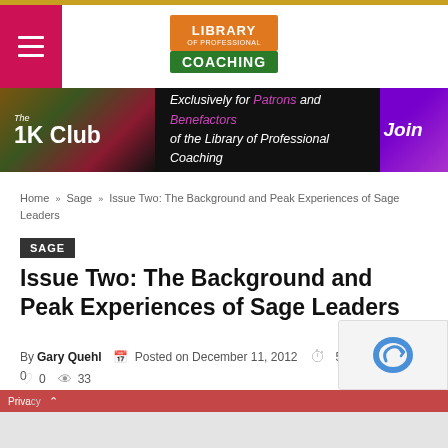[Figure (logo): Library of Professional Coaching logo — orange and green rectangle with bold text]
[Figure (infographic): The 1K Club banner — black background with colorful left section, italic text: Exclusively for Patrons and Benefactors of the Library of Professional Coaching. Purple Join badge on right.]
Home » Sage » Issue Two: The Background and Peak Experiences of Sage Leaders
SAGE
Issue Two: The Background and Peak Experiences of Sage Leaders
By Gary Quehl   Posted on December 11, 2012   5 min read   0   0   33